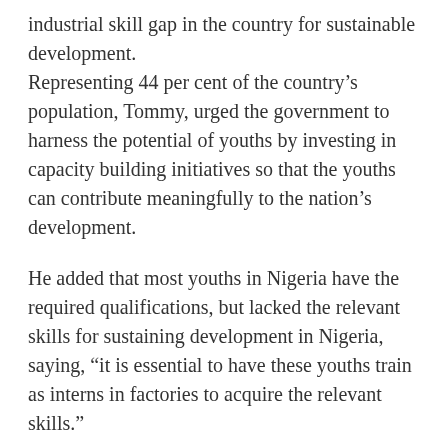industrial skill gap in the country for sustainable development.
Representing 44 per cent of the country's population, Tommy, urged the government to harness the potential of youths by investing in capacity building initiatives so that the youths can contribute meaningfully to the nation's development.
He added that most youths in Nigeria have the required qualifications, but lacked the relevant skills for sustaining development in Nigeria, saying, “it is essential to have these youths train as interns in factories to acquire the relevant skills.”
He stressed that change in mindset, paradigm shift from quick fixes, improved manufacturing sector would facilitate the required change vital for growth and value addition.